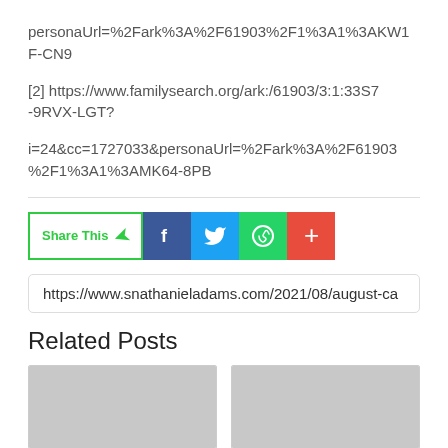personaUrl=%2Fark%3A%2F61903%2F1%3A1%3AKW1F-CN9
[2] https://www.familysearch.org/ark:/61903/3:1:33S7-9RVX-LGT?
i=24&cc=1727033&personaUrl=%2Fark%3A%2F61903%2F1%3A1%3AMK64-8PB
[Figure (infographic): Share This button with social media icons: Facebook (blue), Twitter (light blue), WhatsApp (green), and a red plus/more button]
https://www.snathanieladams.com/2021/08/august-ca
Related Posts
[Figure (photo): Two thumbnail images for related posts, both blurred/low resolution]